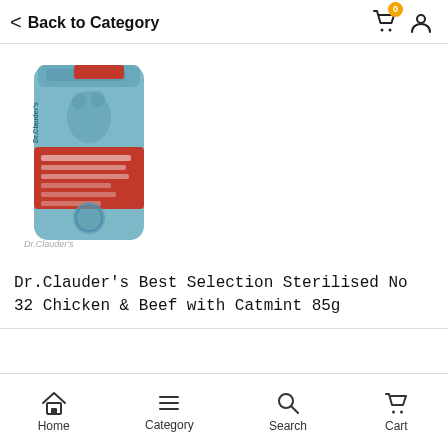Back to Category
[Figure (photo): Dr.Clauder's Best Selection Sterilised No 32 Chicken & Beef with Catmint 85g product pouch — blue packaging with red label]
Dr.Clauder's Best Selection Sterilised No 32 Chicken & Beef with Catmint 85g
Home  Category  Search  Cart